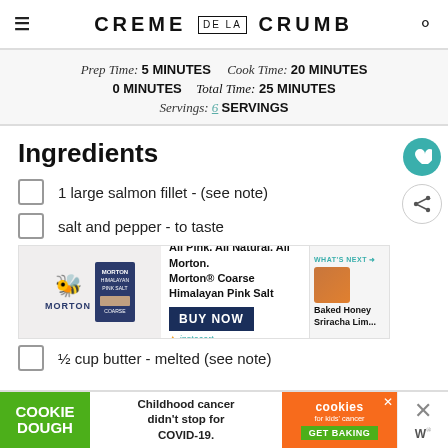CREME DE LA CRUMB
Prep Time: 5 MINUTES   Cook Time: 20 MINUTES   0 MINUTES   Total Time: 25 MINUTES   Servings: 6 SERVINGS
Ingredients
1 large salmon fillet - (see note)
salt and pepper - to taste
[Figure (infographic): Morton Coarse Himalayan Pink Salt advertisement with BUY NOW button and Instacart logo]
½ cup butter - melted (see note)
[Figure (infographic): COOKIE DOUGH advertisement: Childhood cancer didn't stop for COVID-19. GET BAKING. cookies for kids cancer.]